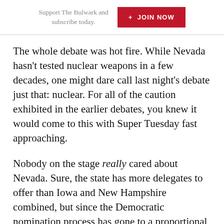Support The Bulwark and subscribe today. + JOIN NOW
The whole debate was hot fire. While Nevada hasn't tested nuclear weapons in a few decades, one might dare call last night's debate just that: nuclear. For all of the caution exhibited in the earlier debates, you knew it would come to this with Super Tuesday fast approaching.
Nobody on the stage really cared about Nevada. Sure, the state has more delegates to offer than Iowa and New Hampshire combined, but since the Democratic nomination process has gone to a proportional system, it has become less important to suck up to all the early primary voters—to tell